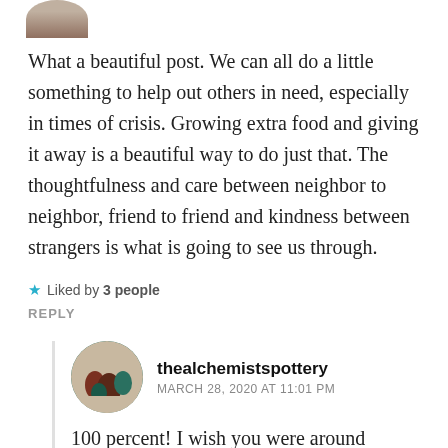[Figure (photo): Partial avatar image cropped at top of page]
What a beautiful post. We can all do a little something to help out others in need, especially in times of crisis. Growing extra food and giving it away is a beautiful way to do just that. The thoughtfulness and care between neighbor to neighbor, friend to friend and kindness between strangers is what is going to see us through.
★ Liked by 3 people
REPLY
[Figure (photo): Avatar photo for thealchemistspottery showing pottery/vases]
thealchemistspottery
MARCH 28, 2020 AT 11:01 PM
100 percent! I wish you were around because